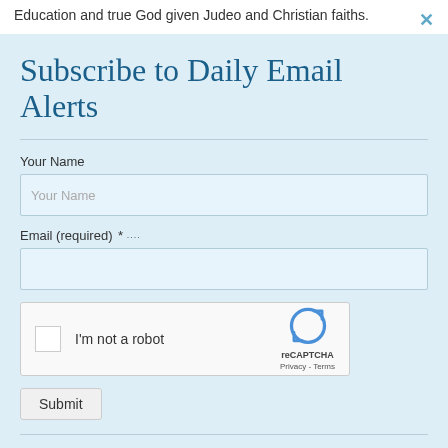Education and true God given Judeo and Christian faiths.
Subscribe to Daily Email Alerts
Your Name
Your Name
Email (required) *
[Figure (other): reCAPTCHA widget with checkbox labeled 'I'm not a robot' and reCAPTCHA logo with Privacy - Terms links]
Submit
By submitting this form, you are consenting to receive marketing emails from: News With Views, P.O. Box 990, Spring Branch, TX, 78070-9998,